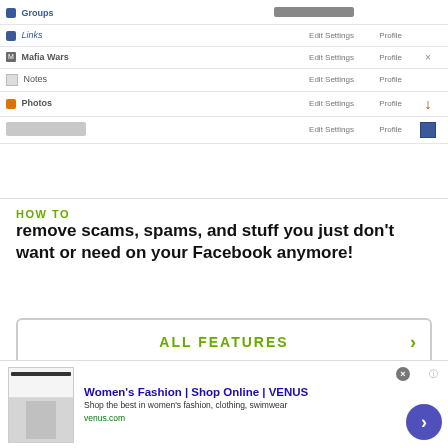[Figure (screenshot): Partial screenshot of a Facebook privacy/application settings table showing rows: Groups (with progress bar), Links, Mafia Wars (with x button), Notes, Photos (with red arrow pointing down), and a blurred row with settings box. Each row has Edit Settings and Profile columns.]
HOW TO
remove scams, spams, and stuff you just don't want or need on your Facebook anymore!
[Figure (screenshot): ALL FEATURES button with green text and right-arrow chevron, inside a rounded rectangle border]
© 2022 WonderHowTo, Inc.
[Figure (screenshot): Dark footer bar with links: WonderHowTo.com, About Us, Terms of Use, Privacy Policy]
[Figure (screenshot): Advertisement overlay: Women's Fashion | Shop Online | VENUS - Shop the best in women's fashion, clothing, swimwear - venus.com, with close button and arrow circle]